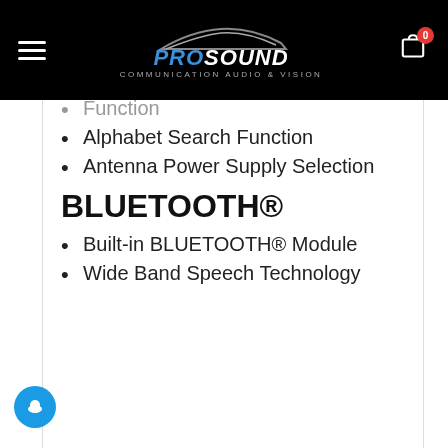[Figure (logo): ProSound Communication Audio & Vision logo with car silhouette on black header background]
Alphabet Search Function
Antenna Power Supply Selection
BLUETOOTH®
Built-in BLUETOOTH® Module
Wide Band Speech Technology